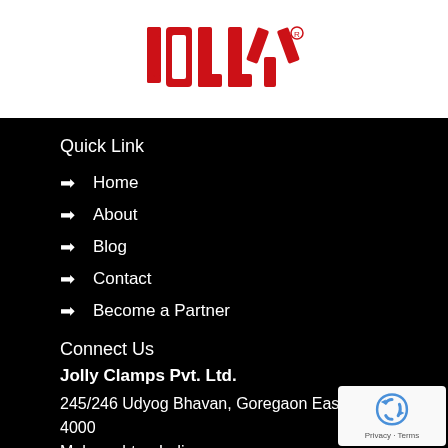[Figure (logo): JOLLY brand logo in red block letters on white background]
Quick Link
Home
About
Blog
Contact
Become a Partner
Connect Us
Jolly Clamps Pvt. Ltd.
245/246 Udyog Bhavan, Goregaon East, Mumbai-4000...
Maharashtra, India.